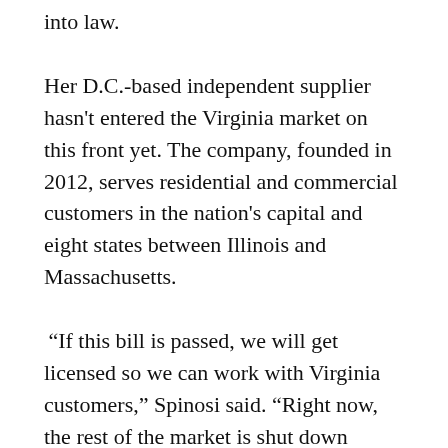into law.
Her D.C.-based independent supplier hasn't entered the Virginia market on this front yet. The company, founded in 2012, serves residential and commercial customers in the nation's capital and eight states between Illinois and Massachusetts.
“If this bill is passed, we will get licensed so we can work with Virginia customers,” Spinosi said. “Right now, the rest of the market is shut down because the two big utilities have a one-size-fits-all renewable energy product.”
She pointed to an early January poll of 500-plus Virginians, conducted on behalf of her company